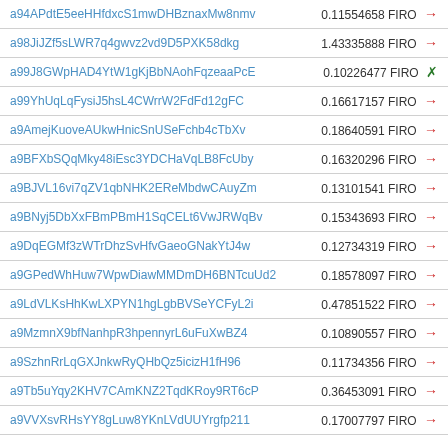| Address | Amount |
| --- | --- |
| a94APdtE5eeHHfdxcS1mwDHBznaxMw8nmv | 0.11554658 FIRO → |
| a98JiJZf5sLWR7q4gwvz2vd9D5PXK58dkg | 1.43335888 FIRO → |
| a99J8GWpHAD4YtW1gKjBbNAohFqzeaaPcE | 0.10226477 FIRO × |
| a99YhUqLqFysiJ5hsL4CWrrW2FdFd12gFC | 0.16617157 FIRO → |
| a9AmejKuoveAUkwHnicSnUSeFchb4cTbXv | 0.18640591 FIRO → |
| a9BFXbSQqMky48iEsc3YDCHaVqLB8FcUby | 0.16320296 FIRO → |
| a9BJVL16vi7qZV1qbNHK2EReMbdwCAuyZm | 0.13101541 FIRO → |
| a9BNyj5DbXxFBmPBmH1SqCELt6VwJRWqBv | 0.15343693 FIRO → |
| a9DqEGMf3zWTrDhzSvHfvGaeoGNakYtJ4w | 0.12734319 FIRO → |
| a9GPedWhHuw7WpwDiawMMDmDH6BNTcuUd2 | 0.18578097 FIRO → |
| a9LdVLKsHhKwLXPYN1hgLgbBVSeYCFyL2i | 0.47851522 FIRO → |
| a9MzmnX9bfNanhpR3hpennyrL6uFuXwBZ4 | 0.10890557 FIRO → |
| a9SzhnRrLqGXJnkwRyQHbQz5icizH1fH96 | 0.11734356 FIRO → |
| a9Tb5uYqy2KHV7CAmKNZ2TqdKRoy9RT6cP | 0.36453091 FIRO → |
| a9VVXsvRHsYY8gLuw8YKnLVdUUYrgfp211 | 0.17007797 FIRO → |